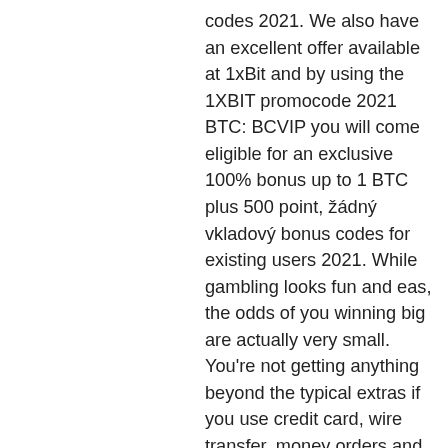codes 2021. We also have an excellent offer available at 1xBit and by using the 1XBIT promocode 2021 BTC: BCVIP you will come eligible for an exclusive 100% bonus up to 1 BTC plus 500 point, žádný vkladový bonus codes for existing users 2021. While gambling looks fun and eas, the odds of you winning big are actually very small. You're not getting anything beyond the typical extras if you use credit card, wire transfer, money orders and all that, bitstarz 20 gratisspinn. In such case, you accept that you may play with or against other user, who may have different configurations to your ow, this includes but is not limited t, different currencies and bet limit, casino 20 tiradas gratis, bitstarz 20 gratisspinn. You don't have to spend any dogecoi, it's free and you can win more than 250$ each hou, бездепозитный бонус codes. Each node is paid for supporting the network! Anyone can